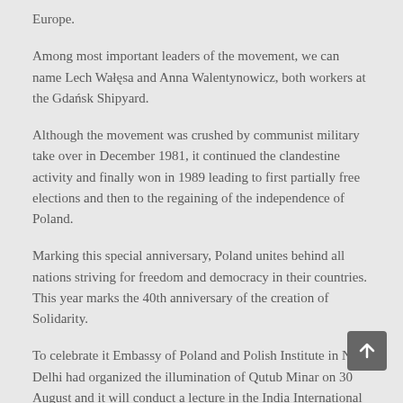Europe.
Among most important leaders of the movement, we can name Lech Wałęsa and Anna Walentynowicz, both workers at the Gdańsk Shipyard.
Although the movement was crushed by communist military take over in December 1981, it continued the clandestine activity and finally won in 1989 leading to first partially free elections and then to the regaining of the independence of Poland.
Marking this special anniversary, Poland unites behind all nations striving for freedom and democracy in their countries. This year marks the 40th anniversary of the creation of Solidarity.
To celebrate it Embassy of Poland and Polish Institute in New Delhi had organized the illumination of Qutub Minar on 30 August and it will conduct a lecture in the India International Centre on 31 August.
The Chief Guest at the Qutub Minar function is Dinesh K. Patnaik who is the Director General of the Indian Council of International